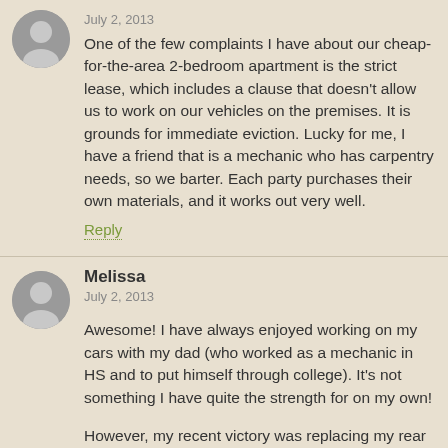July 2, 2013
One of the few complaints I have about our cheap-for-the-area 2-bedroom apartment is the strict lease, which includes a clause that doesn't allow us to work on our vehicles on the premises. It is grounds for immediate eviction. Lucky for me, I have a friend that is a mechanic who has carpentry needs, so we barter. Each party purchases their own materials, and it works out very well.
Reply
Melissa
July 2, 2013
Awesome! I have always enjoyed working on my cars with my dad (who worked as a mechanic in HS and to put himself through college). It's not something I have quite the strength for on my own!
However, my recent victory was replacing my rear brakes (with the assistance of dad) a couple months ago....for the grand total of $21.
(This was after being quoted by a local auto shop upwards of $250 and them telling me I would also need 'all new rotors'–which was total BS and I knew it even before confirming it by taking the wheels off).